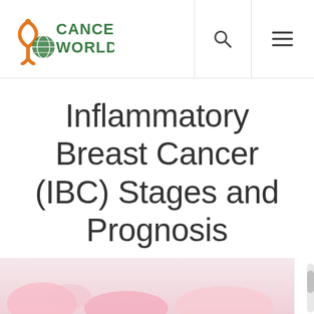Cancer World — navigation header with logo, search, and menu icons
Inflammatory Breast Cancer (IBC) Stages and Prognosis
[Figure (photo): Partial view of a photo at the bottom of the page, showing pink/floral tones, likely related to breast cancer awareness imagery.]